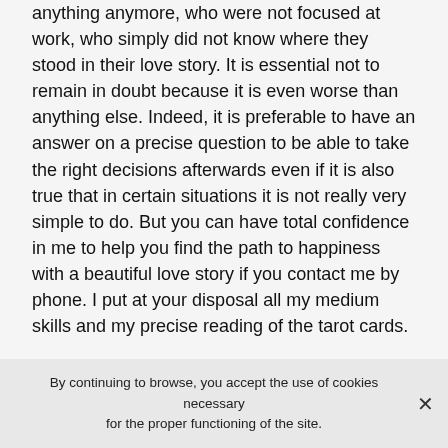anything anymore, who were not focused at work, who simply did not know where they stood in their love story. It is essential not to remain in doubt because it is even worse than anything else. Indeed, it is preferable to have an answer on a precise question to be able to take the right decisions afterwards even if it is also true that in certain situations it is not really very simple to do. But you can have total confidence in me to help you find the path to happiness with a beautiful love story if you contact me by phone. I put at your disposal all my medium skills and my precise reading of the tarot cards.
Don't waste time to have a direct contact by phone for a precise medium in Clarkston
Now you know all that I can do to help you and allow you to have a better understanding of why many people
By continuing to browse, you accept the use of cookies necessary for the proper functioning of the site.